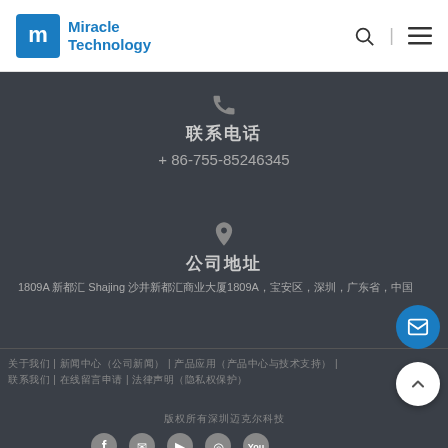Miracle Technology
联系电话
+ 86-755-85246345
公司地址
1809A 新都汇 Shajing 沙井新都汇商业大厦1809A，宝安区，深圳，广东省，中国
关于我们 | 新闻中心（公司新闻） | 产品应用（产品中心与技术支持） | 联系我们 | 在线留言申请 | 法律声明（隐私权保护）
版权所有深圳迈克尔科技